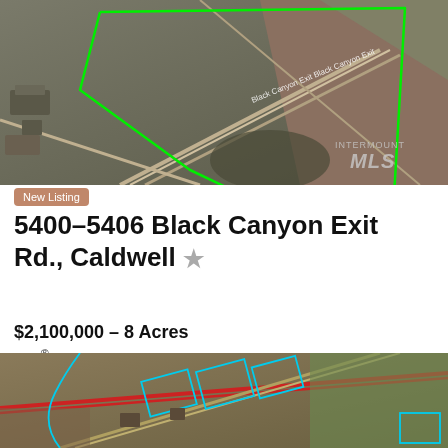[Figure (photo): Aerial/satellite view of land parcel at Black Canyon Exit Rd, Caldwell with green boundary outline overlaid on map. Roads and highway interchange visible. Intermountain MLS watermark in bottom right.]
New Listing
5400-5406 Black Canyon Exit Rd., Caldwell
$2,100,000 - 8 Acres
MLS® # 98851691
KW Commercial
[Figure (photo): Aerial/satellite view of additional land parcels along a diagonal road/highway corridor, with cyan/teal boundary outlines on multiple lots. Agricultural fields visible.]